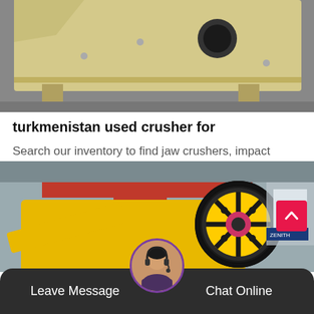[Figure (photo): Industrial crusher machine, beige/cream colored metal body in a warehouse setting]
turkmenistan used crusher for
Search our inventory to find jaw crushers, impact crushers, cone crushers, cone crushing plants, jaw crushing plants, roll crushers, roll crushing plants, and…
Release Time:09-02
[Figure (photo): Yellow jaw crusher machine with large black flywheel in an industrial factory hall]
Leave Message
Chat Online